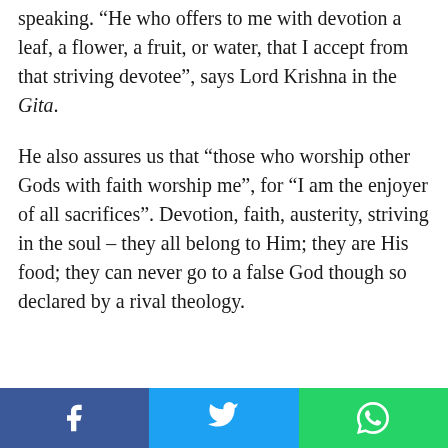speaking. “He who offers to me with devotion a leaf, a flower, a fruit, or water, that I accept from that striving devotee”, says Lord Krishna in the Gita.
He also assures us that “those who worship other Gods with faith worship me”, for “I am the enjoyer of all sacrifices”. Devotion, faith, austerity, striving in the soul – they all belong to Him; they are His food; they can never go to a false God though so declared by a rival theology.
[Figure (other): Social sharing bar with Facebook, Twitter, and WhatsApp buttons]